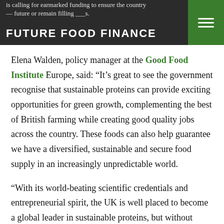FUTURE FOOD FINANCE
Elena Walden, policy manager at the Good Food Institute Europe, said: “It’s great to see the government recognise that sustainable proteins can provide exciting opportunities for green growth, complementing the best of British farming while creating good quality jobs across the country. These foods can also help guarantee we have a diversified, sustainable and secure food supply in an increasingly unpredictable world.
“With its world-beating scientific credentials and entrepreneurial spirit, the UK is well placed to become a global leader in sustainable proteins, but without